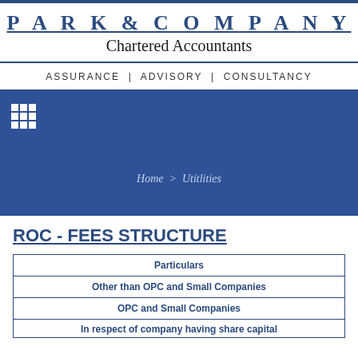PARK & COMPANY Chartered Accountants
ASSURANCE | ADVISORY | CONSULTANCY
[Figure (screenshot): Navigation bar with grid/menu icon on blue background]
Home > Utilities
ROC - FEES STRUCTURE
| Particulars | Other than OPC and Small Companies | OPC and Small Companies | In respect of company having share capital |
| --- | --- | --- | --- |